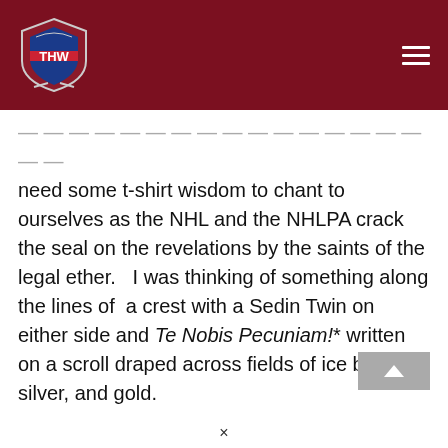THW logo and navigation header
need some t-shirt wisdom to chant to ourselves as the NHL and the NHLPA crack the seal on the revelations by the saints of the legal ether.   I was thinking of something along the lines of  a crest with a Sedin Twin on either side and Te Nobis Pecuniam!* written on a scroll draped across fields of ice blue, silver, and gold.